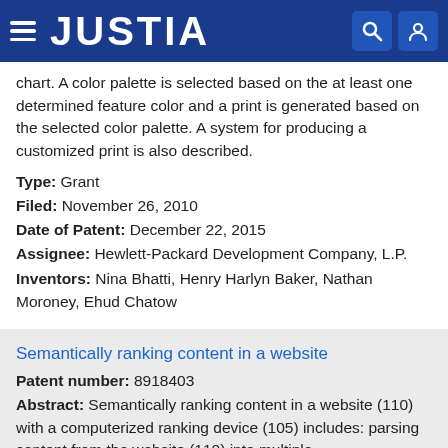JUSTIA
chart. A color palette is selected based on the at least one determined feature color and a print is generated based on the selected color palette. A system for producing a customized print is also described.
Type: Grant
Filed: November 26, 2010
Date of Patent: December 22, 2015
Assignee: Hewlett-Packard Development Company, L.P.
Inventors: Nina Bhatti, Henry Harlyn Baker, Nathan Moroney, Ehud Chatow
Semantically ranking content in a website
Patent number: 8918403
Abstract: Semantically ranking content in a website (110) with a computerized ranking device (105) includes: parsing content from the website (110) into multiple content components (115, 117) with the